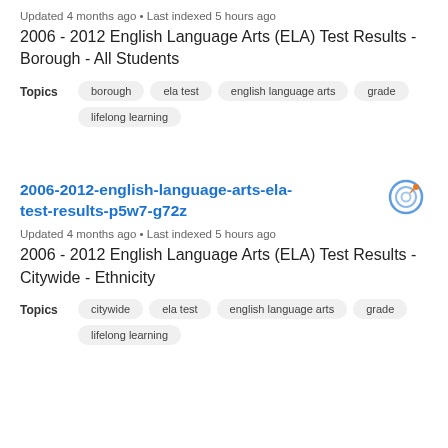Updated 4 months ago • Last indexed 5 hours ago
2006 - 2012 English Language Arts (ELA) Test Results - Borough - All Students
Topics  borough  ela test  english language arts  grade  lifelong learning
2006-2012-english-language-arts-ela-test-results-p5w7-g72z
Updated 4 months ago • Last indexed 5 hours ago
2006 - 2012 English Language Arts (ELA) Test Results - Citywide - Ethnicity
Topics  citywide  ela test  english language arts  grade  lifelong learning